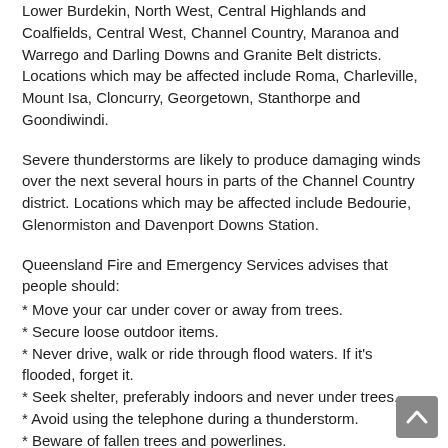Lower Burdekin, North West, Central Highlands and Coalfields, Central West, Channel Country, Maranoa and Warrego and Darling Downs and Granite Belt districts. Locations which may be affected include Roma, Charleville, Mount Isa, Cloncurry, Georgetown, Stanthorpe and Goondiwindi.
Severe thunderstorms are likely to produce damaging winds over the next several hours in parts of the Channel Country district. Locations which may be affected include Bedourie, Glenormiston and Davenport Downs Station.
Queensland Fire and Emergency Services advises that people should:
* Move your car under cover or away from trees.
* Secure loose outdoor items.
* Never drive, walk or ride through flood waters. If it's flooded, forget it.
* Seek shelter, preferably indoors and never under trees.
* Avoid using the telephone during a thunderstorm.
* Beware of fallen trees and powerlines.
* For emergency assistance contact the SES on 132 500.